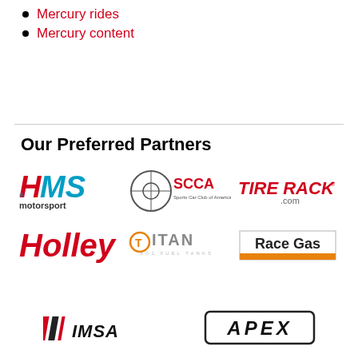Mercury rides
Mercury content
Our Preferred Partners
[Figure (logo): HMS Motorsport logo in red, blue and black italic text]
[Figure (logo): SCCA Sports Car Club of America logo with wheel icon]
[Figure (logo): Tire Rack .com logo in red italic text]
[Figure (logo): Holley logo in red italic bold text]
[Figure (logo): Titan logo with orange circle T and gray text]
[Figure (logo): Race Gas logo in a bordered box with orange stripe]
[Figure (logo): IMSA logo in black italic with diagonal stripes]
[Figure (logo): APEX logo in black bold italic rounded border]